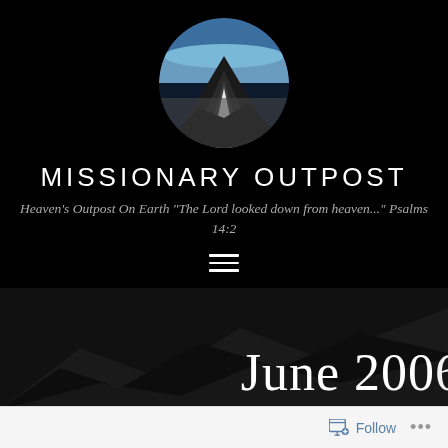[Figure (photo): Circular logo image showing a mountain peak rising above clouds with a blue sky, set against black background]
MISSIONARY OUTPOST
Heaven's Outpost On Earth "The Lord looked down from heaven..." Psalms 14:2
[Figure (other): Hamburger menu icon: three white horizontal lines]
[Figure (photo): Dark mountain landscape hero image background]
June 2006
Follow ...